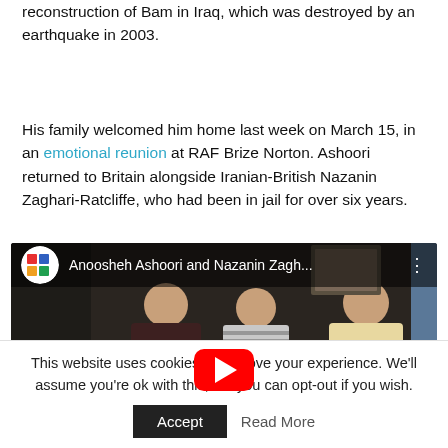reconstruction of Bam in Iraq, which was destroyed by an earthquake in 2003.
His family welcomed him home last week on March 15, in an emotional reunion at RAF Brize Norton. Ashoori returned to Britain alongside Iranian-British Nazanin Zaghari-Ratcliffe, who had been in jail for over six years.
[Figure (screenshot): YouTube video embed showing Anoosheh Ashoori and Nazanin Zagh... with play button overlay and two people embracing in the background]
This website uses cookies to improve your experience. We'll assume you're ok with this, but you can opt-out if you wish. Accept  Read More